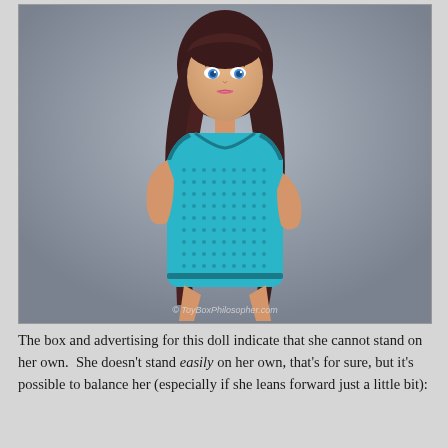[Figure (photo): A Barbie-style fashion doll with long dark reddish-brown hair and blue eyes, wearing a teal/turquoise mesh knit sleeveless mini dress with dark trim. The doll has a curvier body type. Background is gray. Watermark reads '© ToyBoxPhilosopher.com'.]
The box and advertising for this doll indicate that she cannot stand on her own.  She doesn't stand easily on her own, that's for sure, but it's possible to balance her (especially if she leans forward just a little bit):